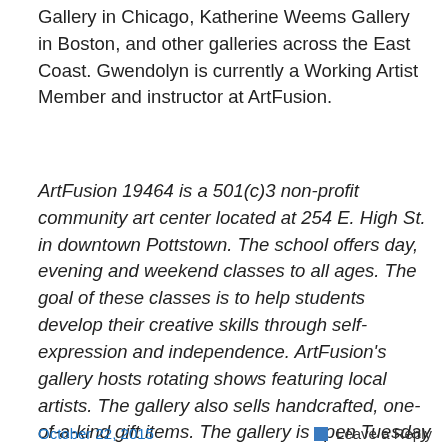Gallery in Chicago, Katherine Weems Gallery in Boston, and other galleries across the East Coast. Gwendolyn is currently a Working Artist Member and instructor at ArtFusion.
ArtFusion 19464 is a 501(c)3 non-profit community art center located at 254 E. High St. in downtown Pottstown. The school offers day, evening and weekend classes to all ages. The goal of these classes is to help students develop their creative skills through self-expression and independence. ArtFusion's gallery hosts rotating shows featuring local artists. The gallery also sells handcrafted, one-of-a-kind gift items. The gallery is open Tuesday through Friday from 10am-5pm and Saturday 10am-3pm. The gallery is closed Sunday and Monday.
October 22, 2015   Leave a Reply